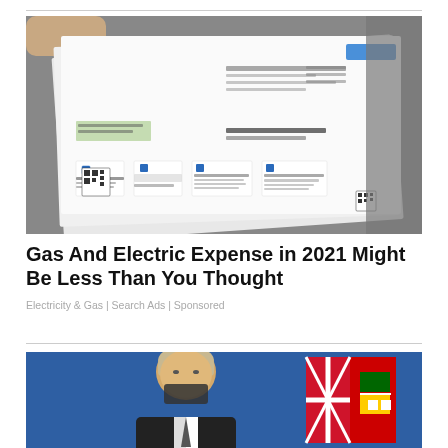[Figure (photo): A person holding a PG&E utility bill showing gas charges, payment options including BGE app, online, in-person, and pay by phone options with a QR code.]
Gas And Electric Expense in 2021 Might Be Less Than You Thought
Electricity & Gas | Search Ads | Sponsored
[Figure (photo): A blonde man in a dark suit speaking at a podium, with a blue background and an Ontario flag visible behind him.]